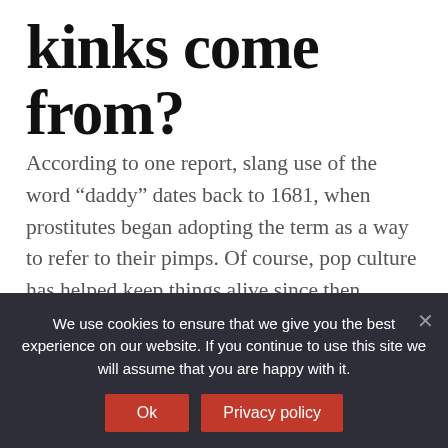kinks come from?
According to one report, slang use of the word “daddy” dates back to 1681, when prostitutes began adopting the term as a way to refer to their pimps. Of course, pop culture has helped keep things alive since then. Television comedies have found ways to inject the concept into plotlines.
What is BAE and
We use cookies to ensure that we give you the best experience on our website. If you continue to use this site we will assume that you are happy with it.